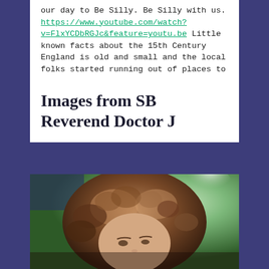our day to Be Silly. Be Silly with us. https://www.youtube.com/watch?v=FlxYCDbRGJc&feature=youtu.be Little known facts about the 15th Century England is old and small and the local folks started running out of places to
Images from SB Reverend Doctor J
[Figure (photo): Close-up photo of a person with curly hair, shot outdoors with a blurred green tree background and bright light.]